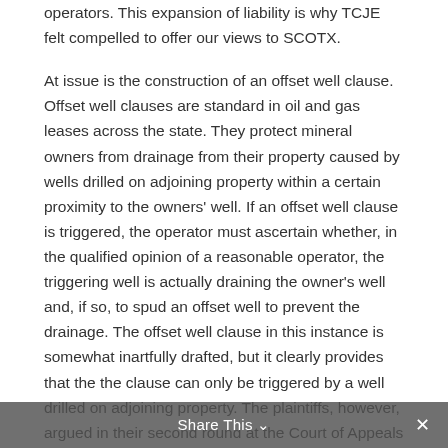operators. This expansion of liability is why TCJE felt compelled to offer our views to SCOTX.
At issue is the construction of an offset well clause. Offset well clauses are standard in oil and gas leases across the state. They protect mineral owners from drainage from their property caused by wells drilled on adjoining property within a certain proximity to the owners' well. If an offset well clause is triggered, the operator must ascertain whether, in the qualified opinion of a reasonable operator, the triggering well is actually draining the owner's well and, if so, to spud an offset well to prevent the drainage. The offset well clause in this instance is somewhat inartfully drafted, but it clearly provides that the the clause can only be triggered by a well drilled on adjoining property. The plaintiffs, however, argued in their second round at the Court of Appeals that the clause triggered when a well was drilled on non-adjoining property and regardless of the triggering well's proximity, meaning that the
Share This